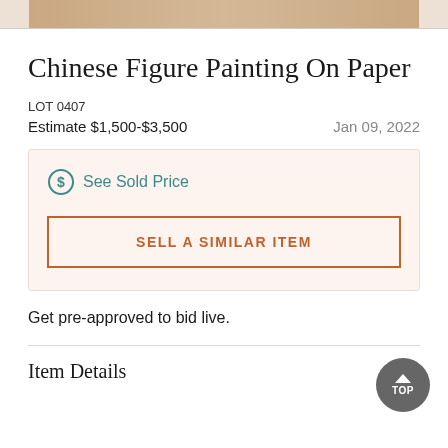[Figure (photo): Cropped top portion of a Chinese figure painting on paper, partially visible at the top of the page]
Chinese Figure Painting On Paper
LOT 0407
Estimate $1,500-$3,500   Jan 09, 2022
See Sold Price
SELL A SIMILAR ITEM
Get pre-approved to bid live.
Item Details